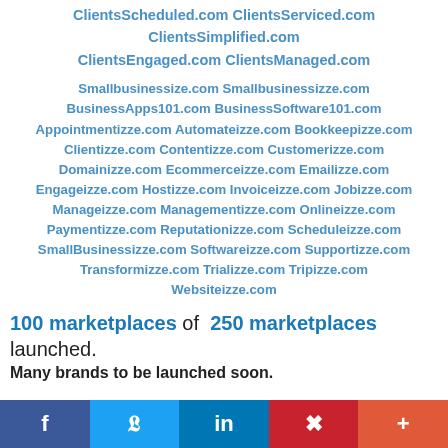ClientsScheduled.com ClientsServiced.com ClientsSimplified.com ClientsEngaged.com ClientsManaged.com
Smallbusinessize.com Smallbusinessizze.com BusinessApps101.com BusinessSoftware101.com Appointmentizze.com Automateizze.com Bookkeepizze.com Clientizze.com Contentizze.com Customerizze.com Domainizze.com Ecommerceizze.com Emailizze.com Engageizze.com Hostizze.com Invoiceizze.com Jobizze.com Manageizze.com Managementizze.com Onlineizze.com Paymentizze.com Reputationizze.com Scheduleizze.com SmallBusinessizze.com Softwareizze.com Supportizze.com Transformizze.com Trializze.com Tripizze.com Websiteizze.com
100 marketplaces of 250 marketplaces launched. Many brands to be launched soon.